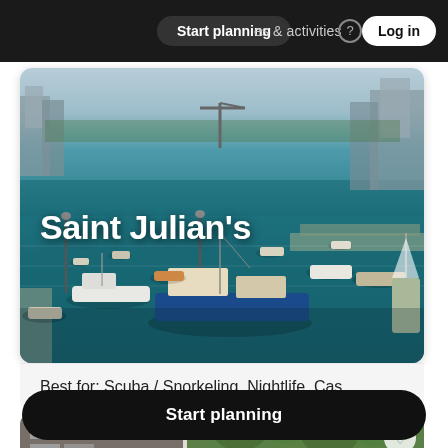Start planning   places & activities   Log in
[Figure (photo): Aerial view of Saint Julian's harbour in Malta with many boats moored in the bay, buildings along the waterfront, and a teal-coloured sea.]
Saint Julian's
Best for: Scuba / Snorkeling, Nightlife, Cas...
[Figure (photo): Partial view of a second location card showing buildings and green trees.]
Start planning